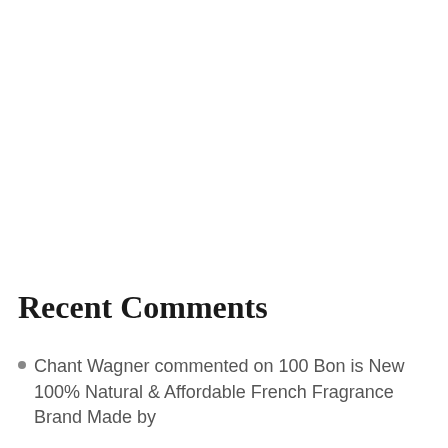Recent Comments
Chant Wagner commented on 100 Bon is New 100% Natural & Affordable French Fragrance Brand Made by